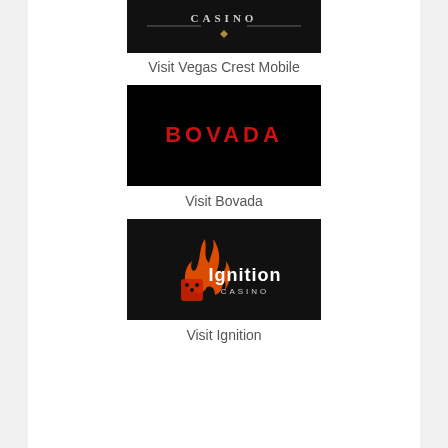[Figure (logo): Vegas Crest Casino logo - silver text on black background]
Visit Vegas Crest Mobile
[Figure (logo): Bovada logo - red text on black background]
Visit Bovada
[Figure (logo): Ignition Casino logo - orange flame and dice icon with white text on dark background]
Visit Ignition